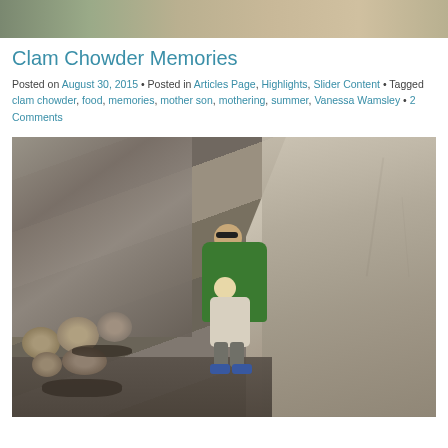[Figure (photo): Top portion of a photo showing an outdoor scene, partially cropped]
Clam Chowder Memories
Posted on August 30, 2015 • Posted in Articles Page, Highlights, Slider Content • Tagged clam chowder, food, memories, mother son, mothering, summer, Vanessa Wamsley • 2 Comments
[Figure (photo): A woman in a green jacket wearing sunglasses sits with a young toddler on rocky coastal terrain. The rocks are large, gray, and barnacle-covered with rounded boulders and dark seaweed patches in the foreground.]